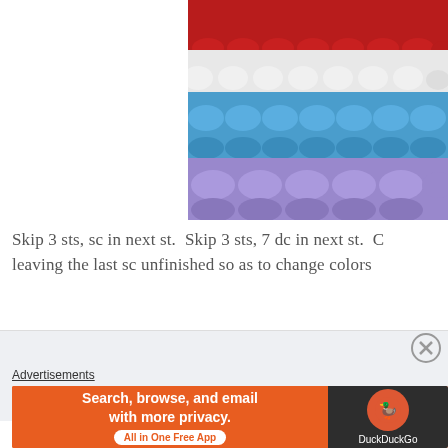[Figure (photo): Close-up photo of colorful crochet stitches showing rows of red, white, blue, and purple yarn in a shell or fan stitch pattern.]
Skip 3 sts, sc in next st.  Skip 3 sts, 7 dc in next st.  C leaving the last sc unfinished so as to change colors
Advertisements
[Figure (screenshot): DuckDuckGo advertisement banner: 'Search, browse, and email with more privacy. All in One Free App' with DuckDuckGo logo on dark background.]